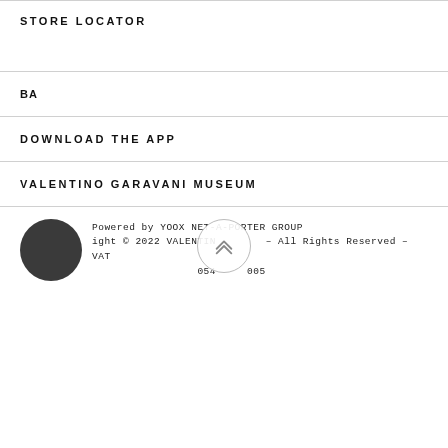STORE LOCATOR
BA
DOWNLOAD THE APP
VALENTINO GARAVANI MUSEUM
Powered by YOOX NET-A-PORTER GROUP
Copyright © 2022 VALENTINO - All Rights Reserved - VAT 054 005